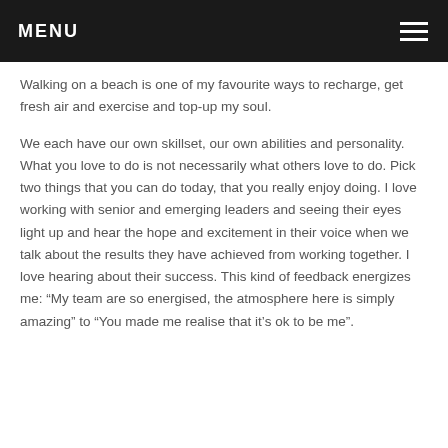MENU
Walking on a beach is one of my favourite ways to recharge, get fresh air and exercise and top-up my soul.
We each have our own skillset, our own abilities and personality. What you love to do is not necessarily what others love to do. Pick two things that you can do today, that you really enjoy doing. I love working with senior and emerging leaders and seeing their eyes light up and hear the hope and excitement in their voice when we talk about the results they have achieved from working together. I love hearing about their success. This kind of feedback energizes me: “My team are so energised, the atmosphere here is simply amazing” to “You made me realise that it’s ok to be me”.